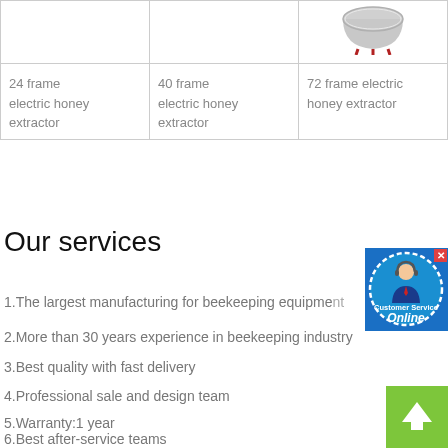| Product 1 | Product 2 | Product 3 |
| --- | --- | --- |
| 24 frame electric honey extractor | 40 frame electric honey extractor | 72 frame electric honey extractor |
Our services
1.The largest manufacturing for beekeeping equipment
2.More than 30 years experience in beekeeping industry
3.Best quality with fast delivery
4.Professional sale and design team
5.Warranty:1 year
6.Best after-service teams
[Figure (illustration): Customer Service Online badge with a businessman icon on a blue circular background]
[Figure (illustration): Green scroll-up arrow button]